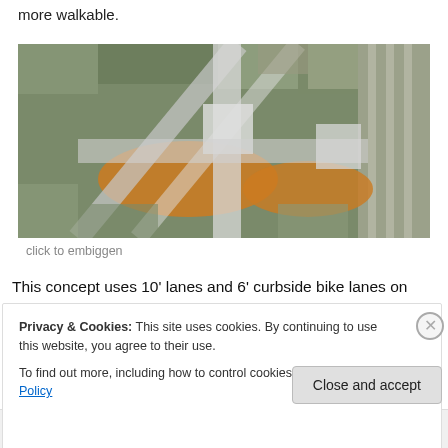more walkable.
[Figure (photo): Aerial/satellite view of an urban highway interchange with highlighted orange areas showing proposed changes, overlaid with white road/path concept lines.]
click to embiggen
This concept uses 10' lanes and 6' curbside bike lanes on
Privacy & Cookies: This site uses cookies. By continuing to use this website, you agree to their use.
To find out more, including how to control cookies, see here: Cookie Policy
Close and accept